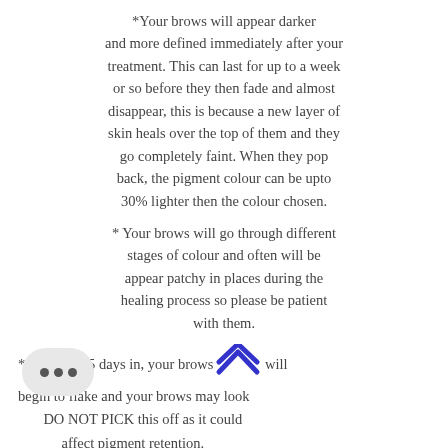*Your brows will appear darker and more defined immediately after your treatment. This can last for up to a week or so before they then fade and almost disappear, this is because a new layer of skin heals over the top of them and they go completely faint. When they pop back, the pigment colour can be upto 30% lighter then the colour chosen.
* Your brows will go through different stages of colour and often will be appear patchy in places during the healing process so please be patient with them.
* Around 4-5 days in, your brows will begin to flake and your brows may look DO NOT PICK this off as it could affect pigment retention. You may experience some mild itchiness,